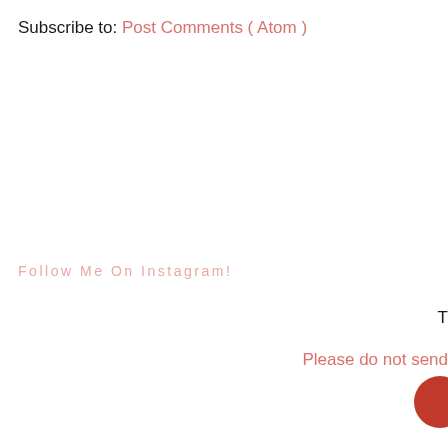Subscribe to: Post Comments ( Atom )
Follow Me On Instagram!
T
Please do not send